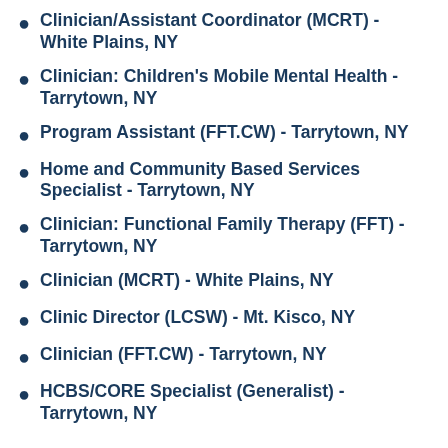Clinician/Assistant Coordinator (MCRT) - White Plains, NY
Clinician: Children's Mobile Mental Health - Tarrytown, NY
Program Assistant (FFT.CW) - Tarrytown, NY
Home and Community Based Services Specialist - Tarrytown, NY
Clinician: Functional Family Therapy (FFT) - Tarrytown, NY
Clinician (MCRT) - White Plains, NY
Clinic Director (LCSW) - Mt. Kisco, NY
Clinician (FFT.CW) - Tarrytown, NY
HCBS/CORE Specialist (Generalist) - Tarrytown, NY